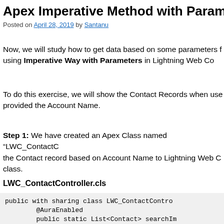Apex Imperative Method with Parameters
Posted on April 28, 2019 by Santanu
Now, we will study how to get data based on some parameters from Salesforce using Imperative Way with Parameters in Lightning Web Components.
To do this exercise, we will show the Contact Records when user has provided the Account Name.
Step 1: We have created an Apex Class named “LWC_ContactController” which will return the Contact record based on Account Name to Lightning Web Component from the Apex class.
LWC_ContactController.cls
public with sharing class LWC_ContactController {
    @AuraEnabled
    public static List<Contact> searchImperativeWithParam(
        if (String.isBlank(accountName))